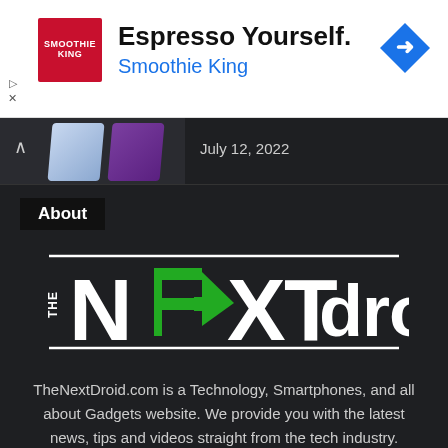[Figure (screenshot): Advertisement banner for Smoothie King with logo, headline 'Espresso Yourself.' and blue navigation icon]
July 12, 2022
About
[Figure (logo): TheNextDroid logo in white and green on dark background]
TheNextDroid.com is a Technology, Smartphones, and all about Gadgets website. We provide you with the latest news, tips and videos straight from the tech industry.
[Figure (infographic): Social media icon buttons: Facebook (blue), Twitter (light blue), and a dark grey icon]